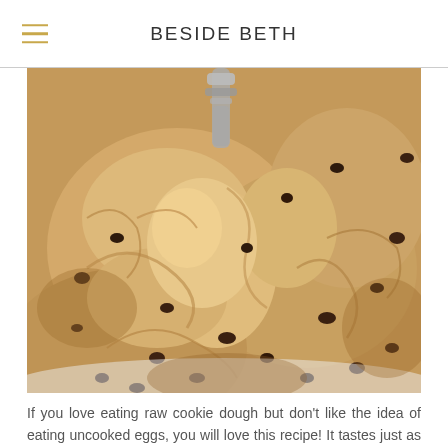BESIDE BETH
[Figure (photo): Close-up photograph of chocolate chip cookie dough being mixed in a bowl, with a silver mixer attachment visible at the top. The dough is textured and golden-brown with visible chocolate chips throughout.]
If you love eating raw cookie dough but don't like the idea of eating uncooked eggs, you will love this recipe! It tastes just as good as cookie dough from the store but doesn't have any raw eggs in it to potentially make